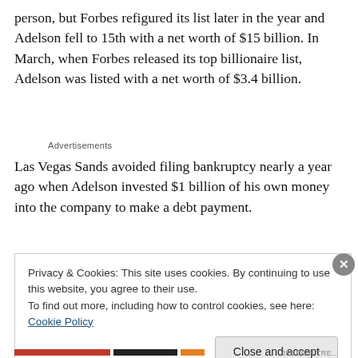person, but Forbes refigured its list later in the year and Adelson fell to 15th with a net worth of $15 billion. In March, when Forbes released its top billionaire list, Adelson was listed with a net worth of $3.4 billion.
Advertisements
Las Vegas Sands avoided filing bankruptcy nearly a year ago when Adelson invested $1 billion of his own money into the company to make a debt payment.
Privacy & Cookies: This site uses cookies. By continuing to use this website, you agree to their use.
To find out more, including how to control cookies, see here: Cookie Policy
Close and accept